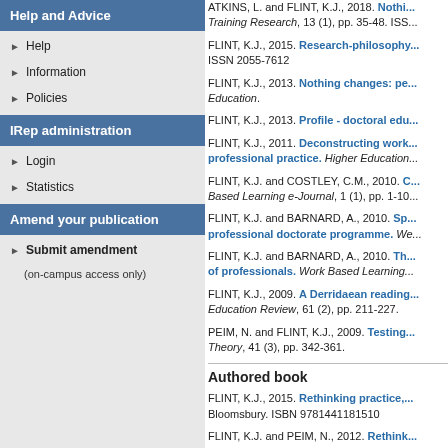Help and Advice
Help
Information
Policies
IRep administration
Login
Statistics
Amend your publication
Submit amendment
(on-campus access only)
ATKINS, L. and FLINT, K.J., 2018. [link] Training Research, 13 (1), pp. 35-48. ISS...
FLINT, K.J., 2015. Research-philosophy... ISSN 2055-7612
FLINT, K.J., 2013. Nothing changes: pe... Education.
FLINT, K.J., 2013. Profile - doctoral edu...
FLINT, K.J., 2011. Deconstructing work... professional practice. Higher Education...
FLINT, K.J. and COSTLEY, C.M., 2010. C... Based Learning e-Journal, 1 (1), pp. 1-10...
FLINT, K.J. and BARNARD, A., 2010. Sp... professional doctorate programme. We...
FLINT, K.J. and BARNARD, A., 2010. Th... of professionals. Work Based Learning...
FLINT, K.J., 2009. A Derridaean reading... Education Review, 61 (2), pp. 211-227.
PEIM, N. and FLINT, K.J., 2009. Testing... Theory, 41 (3), pp. 342-361.
Authored book
FLINT, K.J., 2015. Rethinking practice,... Bloomsbury. ISBN 9781441181510
FLINT, K.J. and PEIM, N., 2012. Rethink...